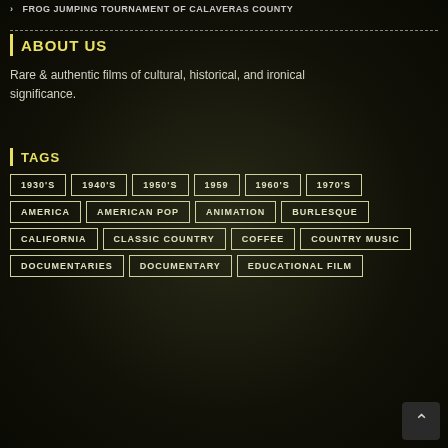FROG JUMPING TOURNAMENT OF CALAVERAS COUNTY
ABOUT US
Rare & authentic films of cultural, historical, and ironical significance.
TAGS
1930'S
1940'S
1950'S
1959
1960'S
1970'S
AMERICA
AMERICAN POP
ANIMATION
BURLESQUE
CALIFORNIA
CLASSIC COUNTRY
COFFEE
COUNTRY MUSIC
DOCUMENTARIES
DOCUMENTARY
EDUCATIONAL FILM